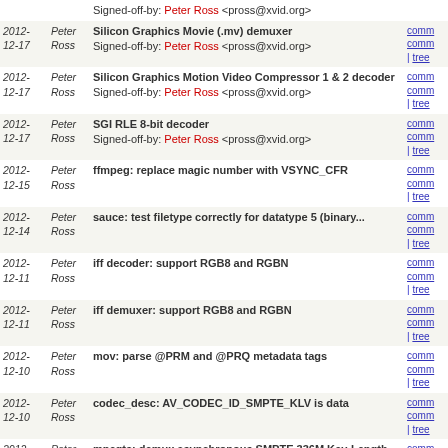| Date | Author | Message | Links |
| --- | --- | --- | --- |
|  |  | Signed-off-by: Peter Ross <pross@xvid.org> |  |
| 2012-
12-17 | Peter
Ross | Silicon Graphics Movie (.mv) demuxer
Signed-off-by: Peter Ross <pross@xvid.org> | comm
comm
| tree |
| 2012-
12-17 | Peter
Ross | Silicon Graphics Motion Video Compressor 1 & 2 decoder
Signed-off-by: Peter Ross <pross@xvid.org> | comm
comm
| tree |
| 2012-
12-17 | Peter
Ross | SGI RLE 8-bit decoder
Signed-off-by: Peter Ross <pross@xvid.org> | comm
comm
| tree |
| 2012-
12-15 | Peter
Ross | ffmpeg: replace magic number with VSYNC_CFR | comm
comm
| tree |
| 2012-
12-14 | Peter
Ross | sauce: test filetype correctly for datatype 5 (binary... | comm
comm
| tree |
| 2012-
12-11 | Peter
Ross | iff decoder: support RGB8 and RGBN | comm
comm
| tree |
| 2012-
12-11 | Peter
Ross | iff demuxer: support RGB8 and RGBN | comm
comm
| tree |
| 2012-
12-10 | Peter
Ross | mov: parse @PRM and @PRQ metadata tags | comm
comm
| tree |
| 2012-
12-10 | Peter
Ross | codec_desc: AV_CODEC_ID_SMPTE_KLV is data | comm
comm
| tree |
| 2012-
12-09 | Peter
Ross | mpegts: demux asynchronous SMPTE 336M Key-Length-Value... | comm
comm
| tree |
| 2012-
12-04 | Peter
Ross | iff demuxer: include DEEP TVDC lookup table in extradata...
Signed-off-by: Peter Ross <pross@xvid.org> | comm
comm
| tree |
| 2012-
12-04 | Peter
Ross | iff decoder: DEEP TVDC 32-bit decoder
Signed-off-by: Peter Ross <pross@xvid.org> | comm
comm
| tree |